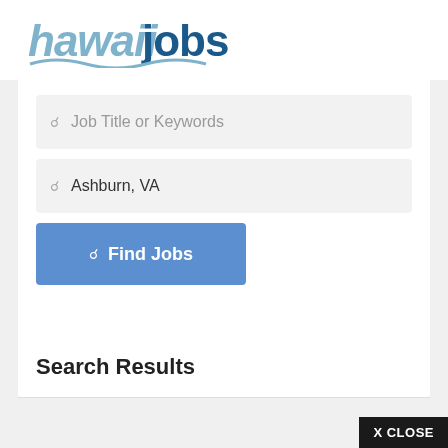[Figure (logo): hawaiijobs logo with light blue italic 'hawaii' and dark blue bold 'jobs' text, with a wave underline]
Job Title or Keywords
Ashburn, VA
Find Jobs
Search Results
X CLOSE